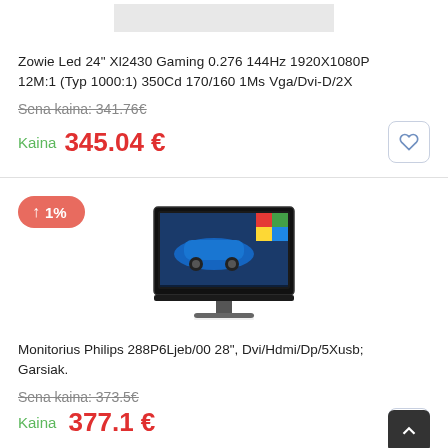[Figure (photo): Gray rectangle stub representing product image area at top of page]
Zowie Led 24" Xl2430 Gaming 0.276 144Hz 1920X1080P 12M:1 (Typ 1000:1) 350Cd 170/160 1Ms Vga/Dvi-D/2X
Sena kaina: 341.76€
Kaina  345.04 €
[Figure (photo): Photo of Philips monitor showing car image on screen, with silver stand]
↑ 1%
Monitorius Philips 288P6Ljeb/00 28", Dvi/Hdmi/Dp/5Xusb; Garsiak.
Sena kaina: 373.5€
377.1 €